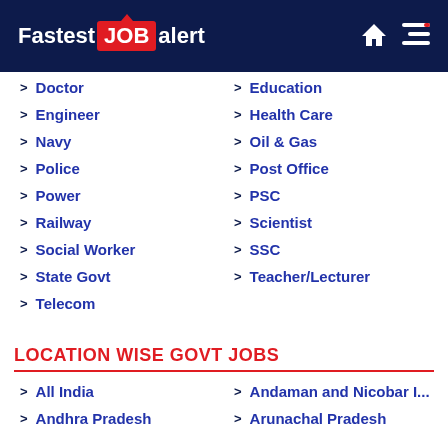FastestJOBalert
Doctor
Education
Engineer
Health Care
Navy
Oil & Gas
Police
Post Office
Power
PSC
Railway
Scientist
Social Worker
SSC
State Govt
Teacher/Lecturer
Telecom
LOCATION WISE GOVT JOBS
All India
Andaman and Nicobar I...
Andhra Pradesh
Arunachal Pradesh